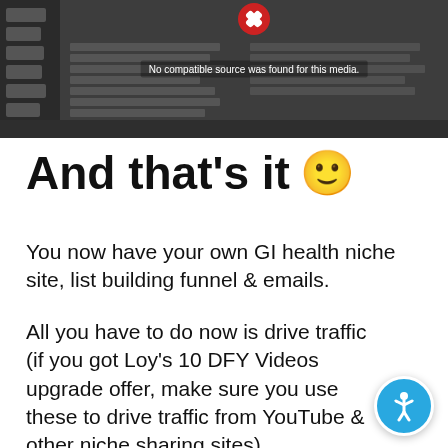[Figure (screenshot): Screenshot of a web browser showing a content management interface with a sidebar navigation and a main content area displaying a media error message 'No compatible source was found for this media.' with a red error icon overlay]
And that's it 🙂
You now have your own GI health niche site, list building funnel & emails.
All you have to do now is drive traffic (if you got Loy's 10 DFY Videos upgrade offer, make sure you use these to drive traffic from YouTube & other niche sharing sites).